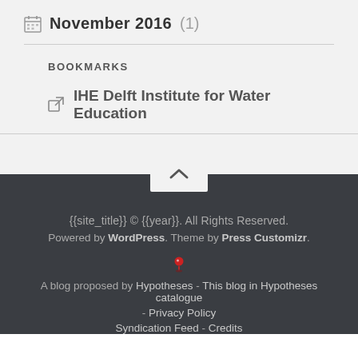November 2016 (1)
BOOKMARKS
IHE Delft Institute for Water Education
{{site_title}} © {{year}}. All Rights Reserved. Powered by WordPress. Theme by Press Customizr. A blog proposed by Hypotheses - This blog in Hypotheses catalogue - Privacy Policy Syndication Feed - Credits